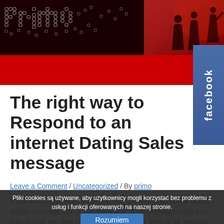[Figure (screenshot): Website header banner with dark red/crimson background, stylized dot-matrix logo text spelling 'primo', and silhouette figures of people on the right side]
[Figure (logo): Facebook sidebar button in blue, vertical text reading 'facebook']
The right way to Respond to an internet Dating Sales message
Leave a Comment / Uncategorized / By primo
Pliki cookies są używane, aby użytkownicy mogli korzystać bez problemu z usług i funkcji oferowanych na naszej stronie.
If you've recently been uncertain how to reply to an online online dating message, check out this article. It will probably teach you how to craft the right online dating message. First of all, typically